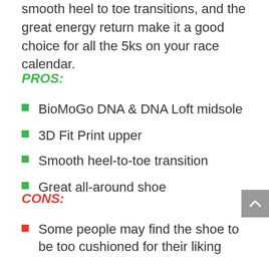smooth heel to toe transitions, and the great energy return make it a good choice for all the 5ks on your race calendar.
PROS:
BioMoGo DNA & DNA Loft midsole
3D Fit Print upper
Smooth heel-to-toe transition
Great all-around shoe
CONS:
Some people may find the shoe to be too cushioned for their liking